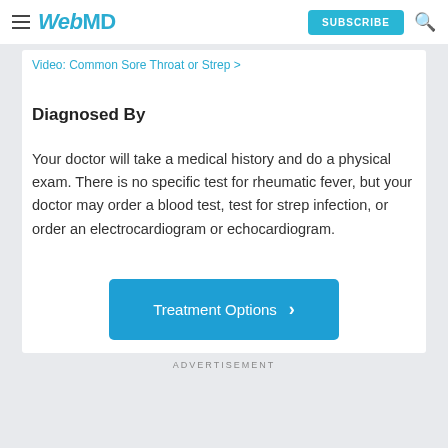WebMD | SUBSCRIBE
Video: Common Sore Throat or Strep >
Diagnosed By
Your doctor will take a medical history and do a physical exam. There is no specific test for rheumatic fever, but your doctor may order a blood test, test for strep infection, or order an electrocardiogram or echocardiogram.
Treatment Options >
ADVERTISEMENT